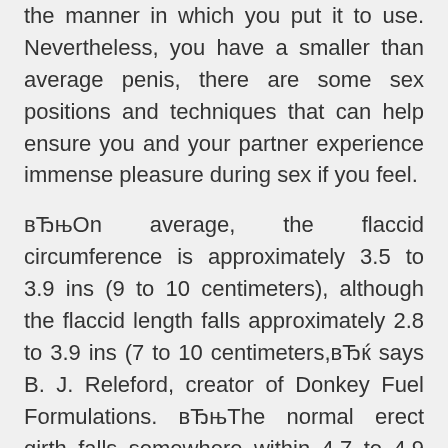the manner in which you put it to use. Nevertheless, you have a smaller than average penis, there are some sex positions and techniques that can help ensure you and your partner experience immense pleasure during sex if you feel.
вЂњOn average, the flaccid circumference is approximately 3.5 to 3.9 ins (9 to 10 centimeters), although the flaccid length falls approximately 2.8 to 3.9 ins (7 to 10 centimeters,вЂќ says B. J. Releford, creator of Donkey Fuel Formulations. вЂњThe normal erect girth falls somewhere within 4.7 to 4.9 ins (12 to 13 centimeters), whilst the typical erect size is somewhere within 4.7 to gay cam